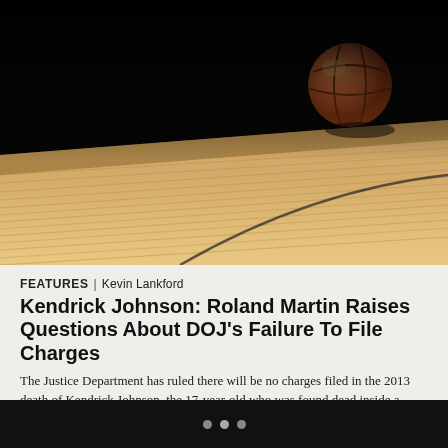[Figure (photo): Basketball on a hardwood gym court floor with dark background, photographed at low angle perspective]
FEATURES | Kevin Lankford
Kendrick Johnson: Roland Martin Raises Questions About DOJ's Failure To File Charges
The Justice Department has ruled there will be no charges filed in the 2013 death of Kendrick Johnson, the 17-year-old who was found dead inside a rolled up gym mat at his Valdosta, Georgia high school. Though local and state investigators ruled Johnson's death a freak accident, his parents, Kenneth and Jackie Johnson, have always believed their son […]